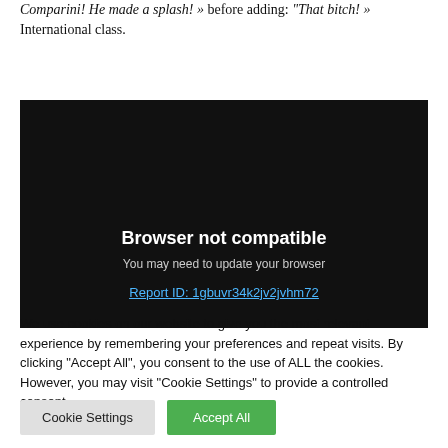Comparini! He made a splash! » before adding: "That bitch! » International class.
[Figure (screenshot): Browser not compatible error screen with black background. Shows text: 'Browser not compatible', 'You may need to update your browser', and a link 'Report ID: 1gbuvr34k2jv2jvhm72']
We use cookies on our website to give you the most relevant experience by remembering your preferences and repeat visits. By clicking "Accept All", you consent to the use of ALL the cookies. However, you may visit "Cookie Settings" to provide a controlled consent.
Cookie Settings   Accept All